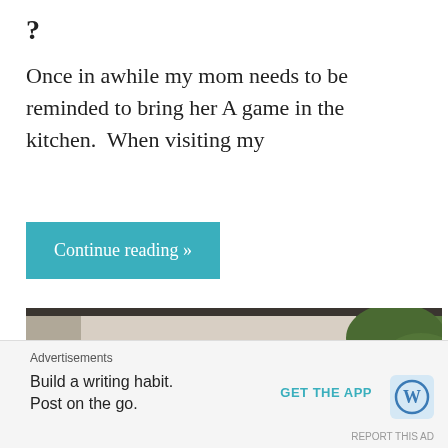?
Once in awhile my mom needs to be reminded to bring her A game in the kitchen.  When visiting my
Continue reading »
[Figure (photo): Outdoor photo showing a white decorative railing/balustrade with a large white planter box filled with dark soil in the foreground, palm trees visible in the background]
Advertisements
Build a writing habit.
Post on the go.
GET THE APP